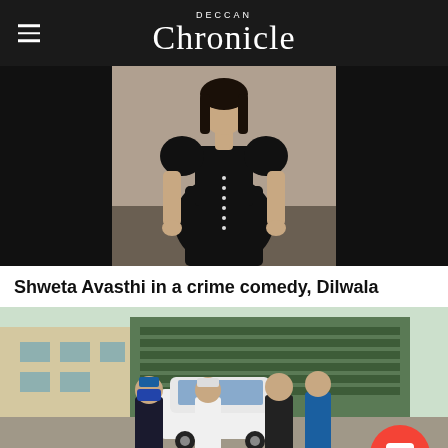Deccan Chronicle
[Figure (photo): Black and white photo of Shweta Avasthi in a black dress with puff sleeves, posing against a light background.]
Shweta Avasthi in a crime comedy, Dilwala
[Figure (photo): Color photo of several people standing on a street in what appears to be a Middle Eastern city. People wearing casual clothing including caps and masks. A white SUV is visible in the background.]